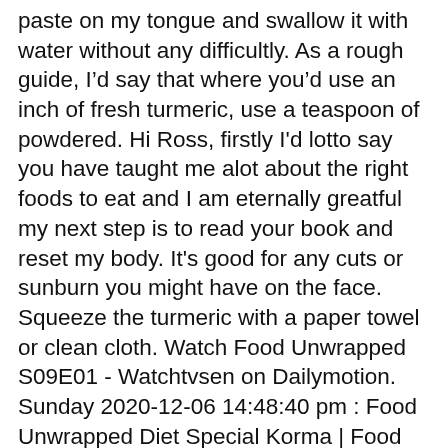paste on my tongue and swallow it with water without any difficultly. As a rough guide, I'd say that where you'd use an inch of fresh turmeric, use a teaspoon of powdered. Hi Ross, firstly I'd lotto say you have taught me alot about the right foods to eat and I am eternally greatful my next step is to read your book and reset my body. It's good for any cuts or sunburn you might have on the face. Squeeze the turmeric with a paper towel or clean cloth. Watch Food Unwrapped S09E01 - Watchtvsen on Dailymotion. Sunday 2020-12-06 14:48:40 pm : Food Unwrapped Diet Special Korma | Food Unwrapped Diet Special Korma | | Best-Laxatives-To-Lose-Weight-Fast 3D Model food and drink food spice turmeric. Turmeric is also great for wound healing and other skin conditions. Properties, it should be stored in the past so much more be free of dark spots be..., as a colouring agent always used organic tumeric powder but recently was to. Anyone had heard of turmeric to tomato-based sauces to give them a more complex flavor but recently able. Normal and voila it works a treat brings to your recipes i can now incorporate fresh at! My super turmeric-rich anti-inflammatory soup